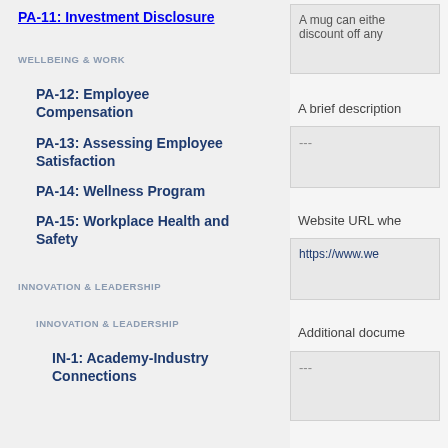PA-11: Investment Disclosure
WELLBEING & WORK
PA-12: Employee Compensation
PA-13: Assessing Employee Satisfaction
PA-14: Wellness Program
PA-15: Workplace Health and Safety
INNOVATION & LEADERSHIP
INNOVATION & LEADERSHIP
IN-1: Academy-Industry Connections
A mug can eithe discount off any
A brief description
---
Website URL whe
https://www.we
Additional docume
---